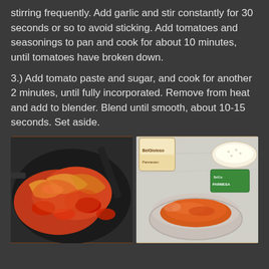stirring frequently. Add garlic and stir constantly for 30 seconds or so to avoid sticking. Add tomatoes and seasonings to pan and cook for about 10 minutes, until tomatoes have broken down.
3.) Add tomato paste and sugar, and cook for another 2 minutes, until fully incorporated. Remove from heat and add to blender. Blend until smooth, about 10-15 seconds. Set aside.
[Figure (photo): Tomato sauce with onions cooking in a dark skillet pan]
[Figure (photo): Blended tomato sauce in a glass bowl with Parmesan cheese container in background]